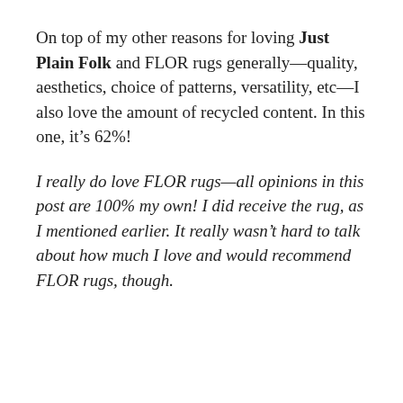On top of my other reasons for loving Just Plain Folk and FLOR rugs generally—quality, aesthetics, choice of patterns, versatility, etc—I also love the amount of recycled content. In this one, it's 62%!
I really do love FLOR rugs—all opinions in this post are 100% my own! I did receive the rug, as I mentioned earlier. It really wasn't hard to talk about how much I love and would recommend FLOR rugs, though.